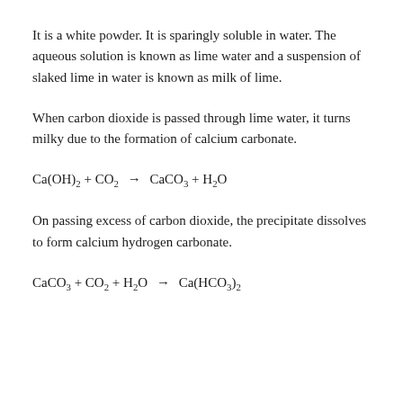It is a white powder. It is sparingly soluble in water. The aqueous solution is known as lime water and a suspension of slaked lime in water is known as milk of lime.
When carbon dioxide is passed through lime water, it turns milky due to the formation of calcium carbonate.
On passing excess of carbon dioxide, the precipitate dissolves to form calcium hydrogen carbonate.